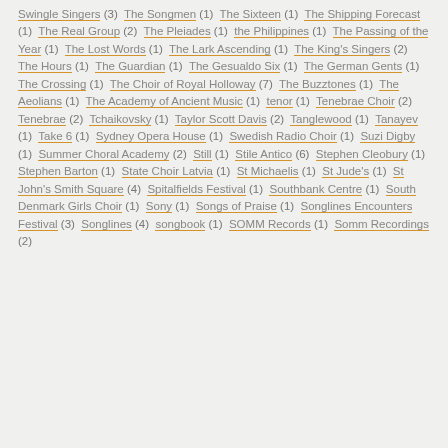Swingle Singers (3)  The Songmen (1)  The Sixteen (1)  The Shipping Forecast (1)  The Real Group (2)  The Pleiades (1)  the Philippines (1)  The Passing of the Year (1)  The Lost Words (1)  The Lark Ascending (1)  The King's Singers (2)  The Hours (1)  The Guardian (1)  The Gesualdo Six (1)  The German Gents (1)  The Crossing (1)  The Choir of Royal Holloway (7)  The Buzztones (1)  The Aeolians (1)  The Academy of Ancient Music (1)  tenor (1)  Tenebrae Choir (2)  Tenebrae (2)  Tchaikovsky (1)  Taylor Scott Davis (2)  Tanglewood (1)  Tanayev (1)  Take 6 (1)  Sydney Opera House (1)  Swedish Radio Choir (1)  Suzi Digby (1)  Summer Choral Academy (2)  Still (1)  Stile Antico (6)  Stephen Cleobury (1)  Stephen Barton (1)  State Choir Latvia (1)  St Michaelis (1)  St Jude's (1)  St John's Smith Square (4)  Spitalfields Festival (1)  Southbank Centre (1)  South Denmark Girls Choir (1)  Sony (1)  Songs of Praise (1)  Songlines Encounters Festival (3)  Songlines (4)  songbook (1)  SOMM Records (1)  Somm Recordings (2)